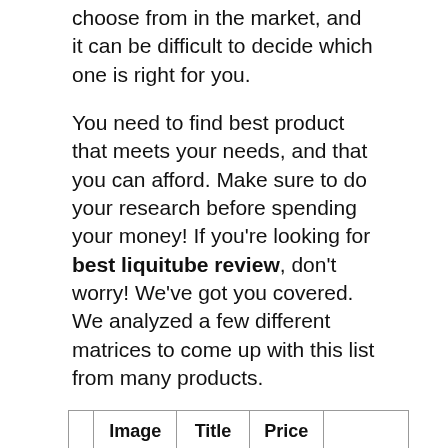choose from in the market, and it can be difficult to decide which one is right for you.
You need to find best product that meets your needs, and that you can afford. Make sure to do your research before spending your money! If you're looking for best liquitube review, don't worry! We've got you covered. We analyzed a few different matrices to come up with this list from many products.
|  | Image | Title | Price |  |
| --- | --- | --- | --- | --- |
| 1 | [TERRO product image] | TERRO T300B Liquid Ant Killer, 12 | $11.92 | Buy Ama |